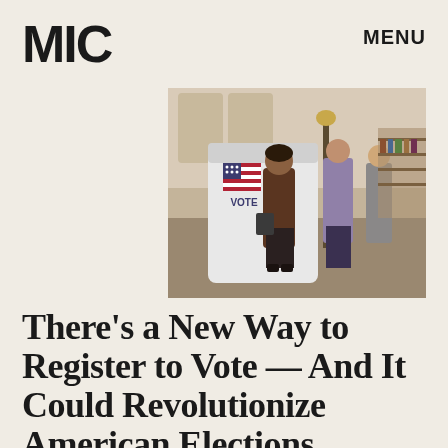MIC   MENU
[Figure (photo): People standing at voting booths in a large hall, with an American flag and VOTE text on a white privacy booth in the foreground]
There's a New Way to Register to Vote — And It Could Revolutionize American Elections